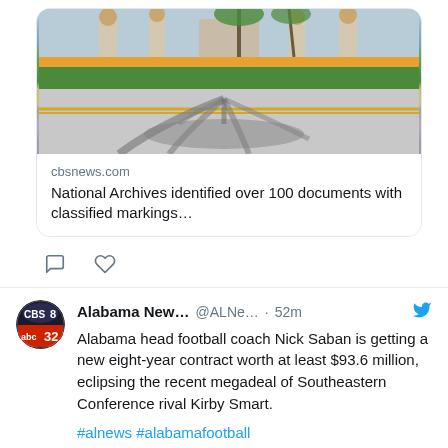[Figure (screenshot): Link preview card showing a photo of a building with palm trees (Mar-a-Lago) with a road in the foreground showing a palm tree shadow]
cbsnews.com
National Archives identified over 100 documents with classified markings...
[Figure (other): Comment and heart (like) action icons]
[Figure (logo): CBS 8 / ABC 32 Alabama News Network logo]
Alabama New... @ALNe... · 52m
Alabama head football coach Nick Saban is getting a new eight-year contract worth at least $93.6 million, eclipsing the recent megadeal of Southeastern Conference rival Kirby Smart.
#alnews #alabamafootball #alabamacrimsontide #alabamanewsnetwork